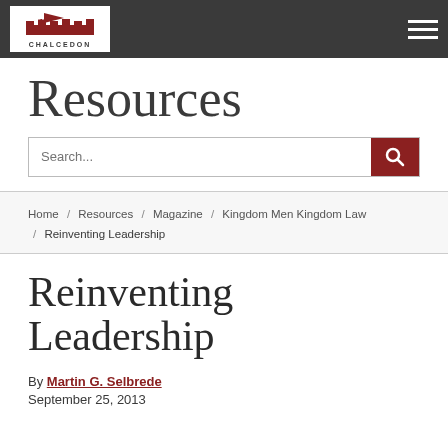CHALCEDON
Resources
Home / Resources / Magazine / Kingdom Men Kingdom Law / Reinventing Leadership
Reinventing Leadership
By Martin G. Selbrede
September 25, 2013